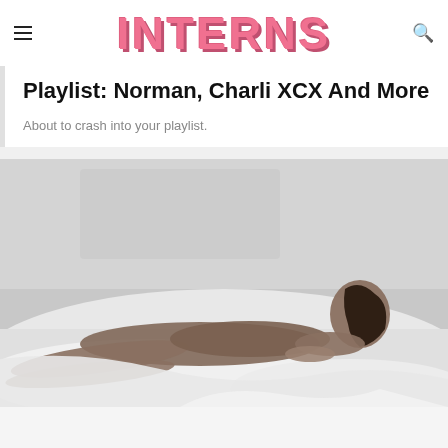INTERNS
Playlist: Norman, Charli XCX And More
About to crash into your playlist.
[Figure (photo): Black and white photograph of a woman lying on a sofa draped with white fabric, resting on her side facing the camera.]